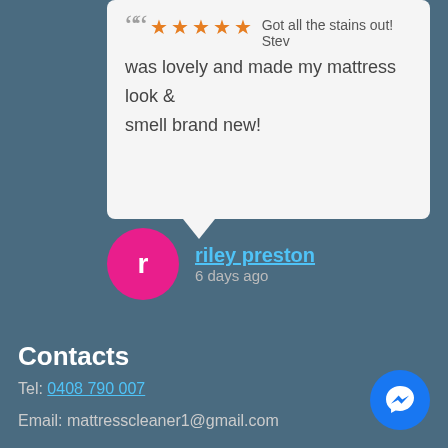Got all the stains out! Stev was lovely and made my mattress look & smell brand new!
riley preston
6 days ago
Contacts
Tel: 0408 790 007
Email: mattresscleaner1@gmail.com